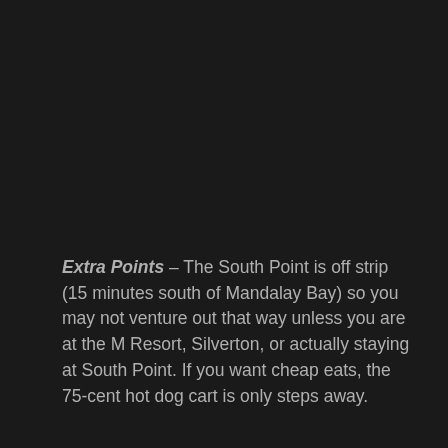Extra Points – The South Point is off strip (15 minutes south of Mandalay Bay) so you may not venture out that way unless you are at the M Resort, Silverton, or actually staying at South Point. If you want cheap eats, the 75-cent hot dog cart is only steps away.